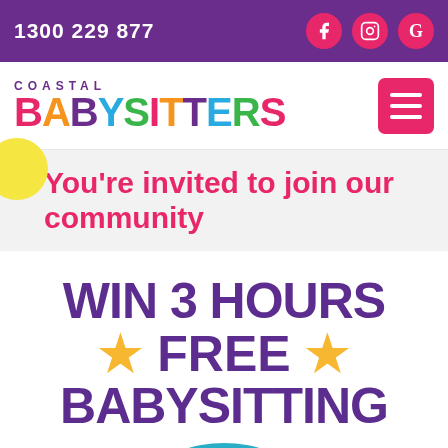1300 229 877
[Figure (logo): Coastal Babysitters logo with colorful lettering]
You're invited to join our community
WIN 3 HOURS ★ FREE ★ BABYSITTING